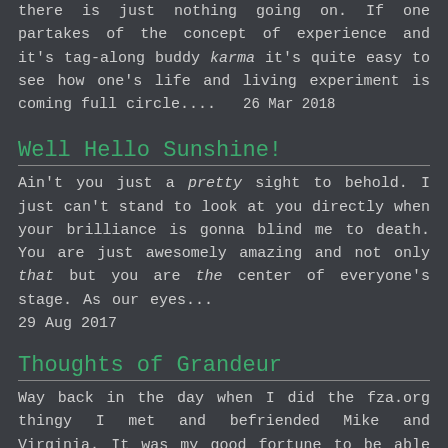there is just nothing going on. If one partakes of the concept of experience and it's tag-along buddy karma it's quite easy to see how one's life and living experiment is coming full circle....  26 Mar 2018
Well Hello Sunshine!
Ain't you just a pretty sight to behold. I just can't stand to look at you directly when your brilliance is gonna blind me to death. You are just awesomely amazing and not only that but you are the center of everyone's stage. As our eyes...  29 Aug 2017
Thoughts of Grandeur
Way back in the day when I did the fza.org thingy I met and befriended Mike and Virginia. It was my good fortune to be able to do so and over the years that friendship has never wavered. Even in the